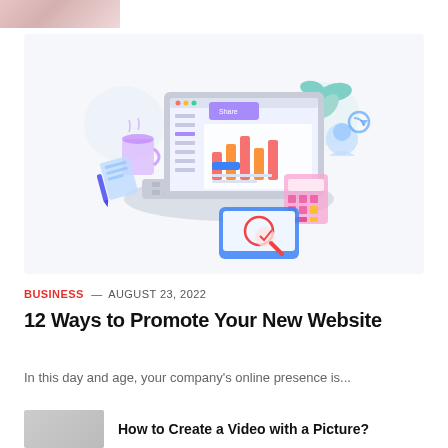[Figure (photo): Partial thumbnail image of a person at top left corner]
[Figure (illustration): Isometric illustration of a laptop computer with analytics dashboard, surrounded by office items: a mug, notepad, calculator, smartphone with magnifying glass, and decorative plants. Light blue/purple/teal color scheme on white background.]
BUSINESS — August 23, 2022
12 Ways to Promote Your New Website
In this day and age, your company's online presence is...
How to Create a Video with a Picture?